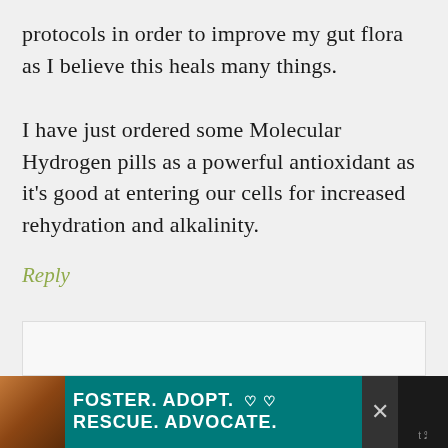protocols in order to improve my gut flora as I believe this heals many things.

I have just ordered some Molecular Hydrogen pills as a powerful antioxidant as it's good at entering our cells for increased rehydration and alkalinity.
Reply
[Figure (other): Advertisement banner: dog photo on left, teal background with white bold text 'FOSTER. ADOPT. ♡ ♡ / RESCUE. ADVOCATE.' with close button on right]